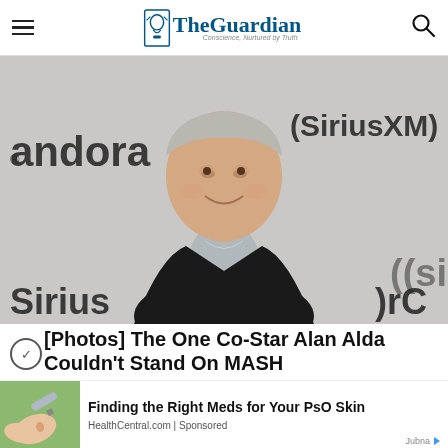The Guardian
[Figure (photo): Elderly man smiling at a Pandora/SiriusXM branded event, wearing a dark blazer and light patterned shirt]
[Photos] The One Co-Star Alan Alda Couldn't Stand On MASH
Sponsored
[Figure (photo): Close-up of hands with a medical device, possibly a blood glucose tester or medication pen, outdoors on green background]
Finding the Right Meds for Your PsO Skin
HealthCentral.com | Sponsored
Jubna